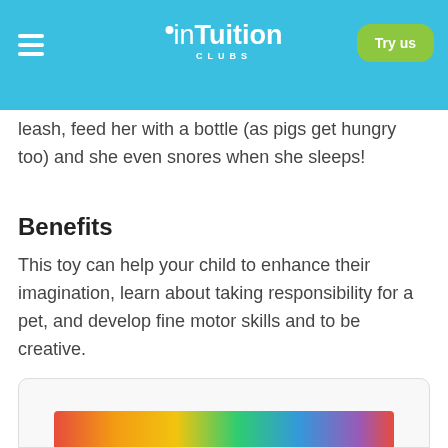inTuition CLUBS — Try us
leash, feed her with a bottle (as pigs get hungry too) and she even snores when she sleeps!
Benefits
This toy can help your child to enhance their imagination, learn about taking responsibility for a pet, and develop fine motor skills and to be creative.
Find out more »
[Figure (photo): Partially visible colorful product image at the bottom of the page]